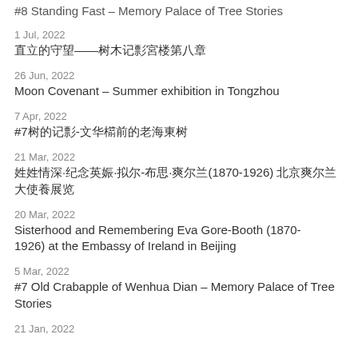#8 Standing Fast – Memory Palace of Tree Stories
1 Jul, 2022
直立的守望——树木记忆宫殿第八章
26 Jun, 2022
Moon Covenant – Summer exhibition in Tongzhou
7 Apr, 2022
#7树的记忆-文华殿前的老海棠树
21 Mar, 2022
姐妹情深·纪念艾娃·戈尔-布思·爱尔兰·大使(1870-1926) 北京爱尔兰大使馆展览
20 Mar, 2022
Sisterhood and Remembering Eva Gore-Booth (1870-1926) at the Embassy of Ireland in Beijing
5 Mar, 2022
#7 Old Crabapple of Wenhua Dian – Memory Palace of Tree Stories
21 Jan, 2022